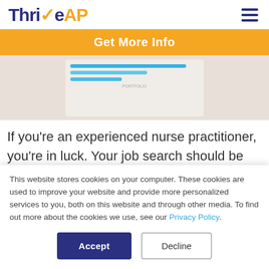ThriveAP
Get More Info
[Figure (photo): A blurred photo of a document or form with blue-colored lines/text on a light background, placed on a table surface.]
If you’re an experienced nurse practitioner, you’re in luck. Your job search should be much easier than it was as a new grad now that you’ve got some real life practice hours under
This website stores cookies on your computer. These cookies are used to improve your website and provide more personalized services to you, both on this website and through other media. To find out more about the cookies we use, see our Privacy Policy.
Accept
Decline